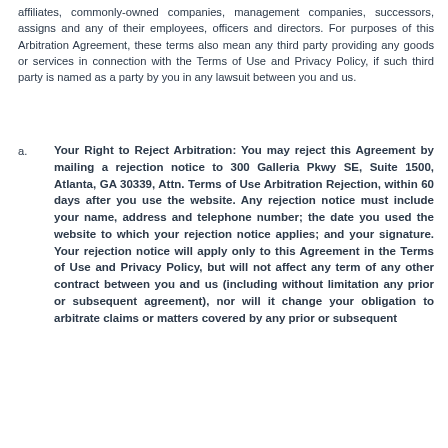affiliates, commonly-owned companies, management companies, successors, assigns and any of their employees, officers and directors. For purposes of this Arbitration Agreement, these terms also mean any third party providing any goods or services in connection with the Terms of Use and Privacy Policy, if such third party is named as a party by you in any lawsuit between you and us.
a. Your Right to Reject Arbitration: You may reject this Agreement by mailing a rejection notice to 300 Galleria Pkwy SE, Suite 1500, Atlanta, GA 30339, Attn. Terms of Use Arbitration Rejection, within 60 days after you use the website. Any rejection notice must include your name, address and telephone number; the date you used the website to which your rejection notice applies; and your signature. Your rejection notice will apply only to this Agreement in the Terms of Use and Privacy Policy, but will not affect any term of any other contract between you and us (including without limitation any prior or subsequent agreement), nor will it change your obligation to arbitrate claims or matters covered by any prior or subsequent